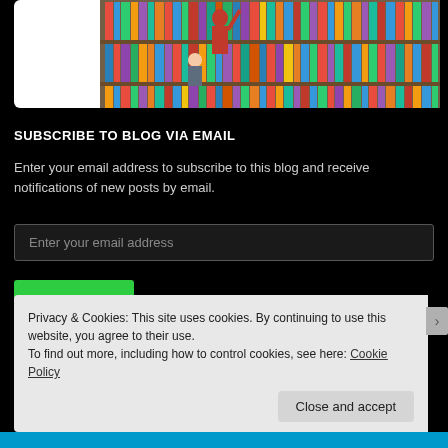[Figure (photo): A woman reaching for books on a library shelf while a child sits nearby; library shelves filled with colorful books in the background.]
SUBSCRIBE TO BLOG VIA EMAIL
Enter your email address to subscribe to this blog and receive notifications of new posts by email.
Enter your email address
Privacy & Cookies: This site uses cookies. By continuing to use this website, you agree to their use.
To find out more, including how to control cookies, see here: Cookie Policy
Close and accept